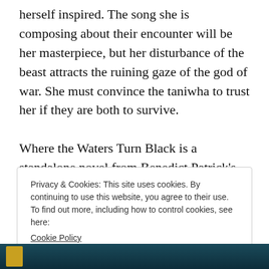herself inspired. The song she is composing about their encounter will be her masterpiece, but her disturbance of the beast attracts the ruining gaze of the god of war. She must convince the taniwha to trust her if they are both to survive.

Where the Waters Turn Black is a standalone novel from Benedict Patrick's Yarnsworld series. Inspired by the myths and legends of South Pacific island cultures, this
Privacy & Cookies: This site uses cookies. By continuing to use this website, you agree to their use.
To find out more, including how to control cookies, see here:
Cookie Policy

Close and accept
[Figure (photo): Dark teal book cover partially visible at the bottom of the page]